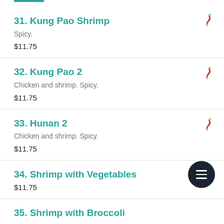31. Kung Pao Shrimp
Spicy.
$11.75
32. Kung Pao 2
Chicken and shrimp. Spicy.
$11.75
33. Hunan 2
Chicken and shrimp. Spicy.
$11.75
34. Shrimp with Vegetables
$11.75
35. Shrimp with Broccoli